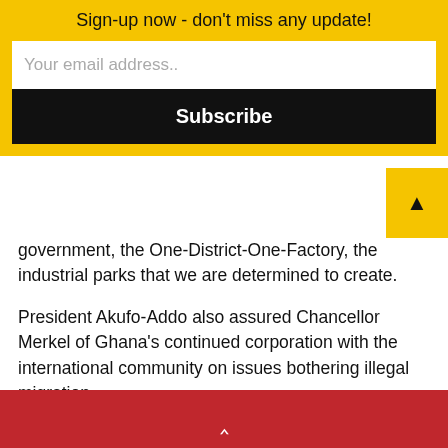Sign-up now - don't miss any update!
government, the One-District-One-Factory, the industrial parks that we are determined to create.
President Akufo-Addo also assured Chancellor Merkel of Ghana's continued corporation with the international community on issues bothering illegal migration.
On the threat of terrorism, President Akufo-Addo thanked Chancellor Merkel and Germany for the assistance towards fighting this threat and the jihadist menace.
▲